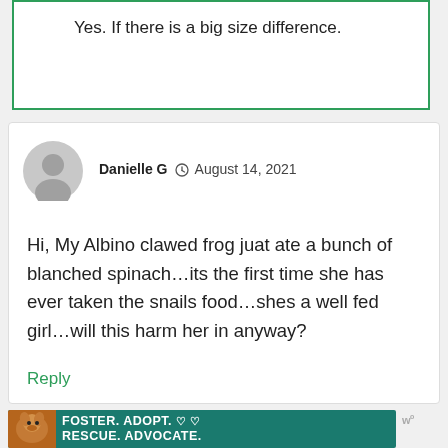Yes. If there is a big size difference.
[Figure (screenshot): Comment card with avatar, author Danielle G dated August 14, 2021, and a comment about an Albino clawed frog eating blanched spinach]
Hi, My Albino clawed frog juat ate a bunch of blanched spinach…its the first time she has ever taken the snails food…shes a well fed girl…will this harm her in anyway?
Reply
[Figure (screenshot): Advertisement banner: FOSTER. ADOPT. RESCUE. ADVOCATE. with dog photo on teal background]